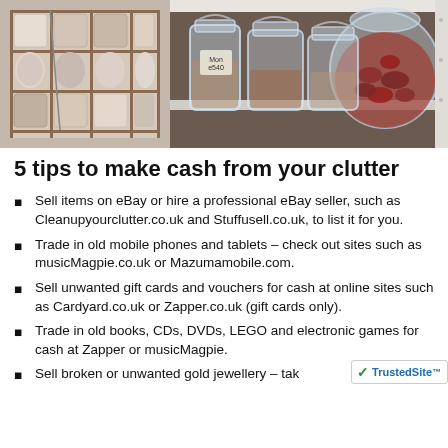[Figure (photo): Two photos side by side: left shows wooden soap/cosmetic organizer tray with rolled items; right shows glass storage jars with spices and beans on a shelf]
5 tips to make cash from your clutter
Sell items on eBay or hire a professional eBay seller, such as Cleanupyourclutter.co.uk and Stuffusell.co.uk, to list it for you.
Trade in old mobile phones and tablets – check out sites such as musicMagpie.co.uk or Mazumamobile.com.
Sell unwanted gift cards and vouchers for cash at online sites such as Cardyard.co.uk or Zapper.co.uk (gift cards only).
Trade in old books, CDs, DVDs, LEGO and electronic games for cash at Zapper or musicMagpie.
Sell broken or unwanted gold jewellery – take